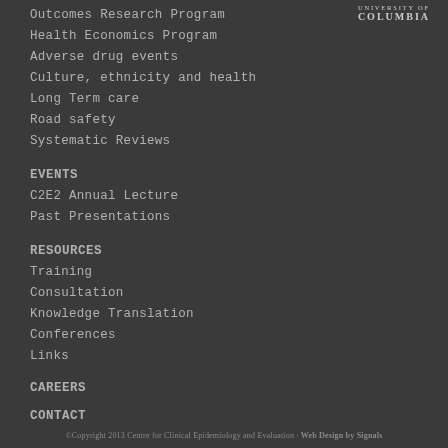[Figure (logo): Columbia University logo/wordmark in top right corner]
Outcomes Research Program
Health Economics Program
Adverse drug events
Culture, ethnicity and health
Long Term care
Road safety
Systematic Reviews
EVENTS
C2E2 Annual Lecture
Past Presentations
RESOURCES
Training
Consultation
Knowledge Translation
Conferences
Links
CAREERS
CONTACT
©Copyright 2013 Centre for Clinical Epidemiology and Evaluation · Web Design by Signals